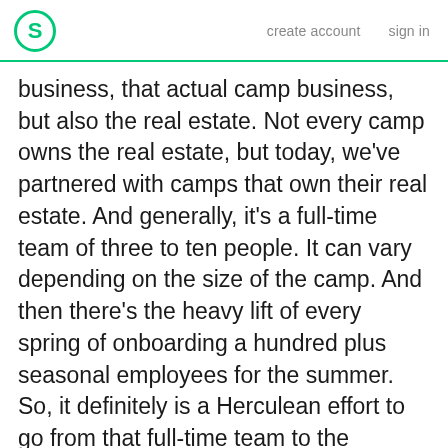S  create account  sign in
business, that actual camp business, but also the real estate. Not every camp owns the real estate, but today, we've partnered with camps that own their real estate. And generally, it's a full-time team of three to ten people. It can vary depending on the size of the camp. And then there's the heavy lift of every spring of onboarding a hundred plus seasonal employees for the summer. So, it definitely is a Herculean effort to go from that full-time team to the seasonal staff required. There's a huge range in terms of the actual real estate of the business and also based off obviously it's location and acreage, but also in terms of the actual infrastructure. So, some camps have tents and